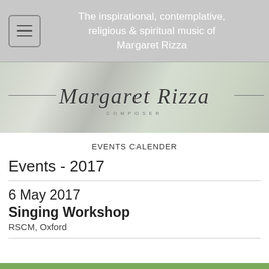The inspirational, contemplative, religious & spiritual music of Margaret Rizza
[Figure (logo): Margaret Rizza Composer cursive signature logo on a soft gradient background]
EVENTS CALENDER
Events - 2017
6 May 2017
Singing Workshop
RSCM, Oxford